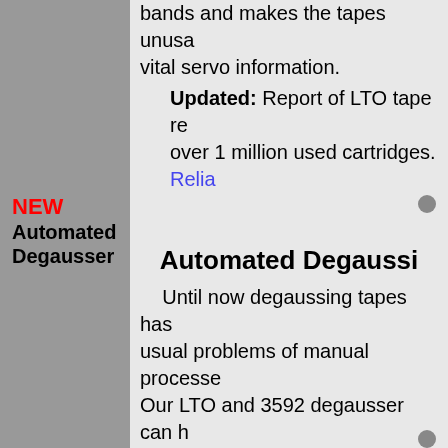bands and makes the tapes unusable, destroying vital servo information.
Updated: Report of LTO tape reliability based on over 1 million used cartridges. Relia…
NEW Automated Degausser
Automated Degaussi…
Until now degaussing tapes has had the usual problems of manual processes. Our LTO and 3592 degausser can handle degaussing becomes an automated process. Your obsolete cartridges that still ho custody until they are completely de Your cartridges don't have be move